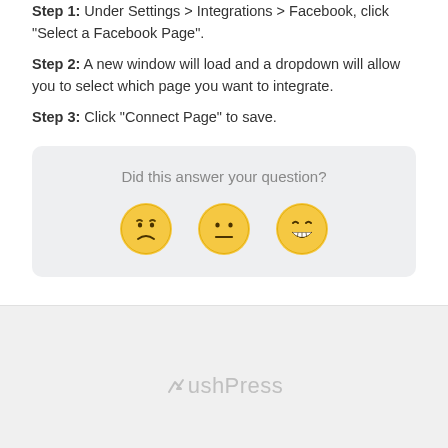Step 1: Under Settings > Integrations > Facebook, click "Select a Facebook Page".
Step 2: A new window will load and a dropdown will allow you to select which page you want to integrate.
Step 3: Click "Connect Page" to save.
Did this answer your question?
[Figure (illustration): Three emoji faces representing satisfaction ratings: sad face (frowning), neutral face, and happy face (smiling with teeth)]
BushPress